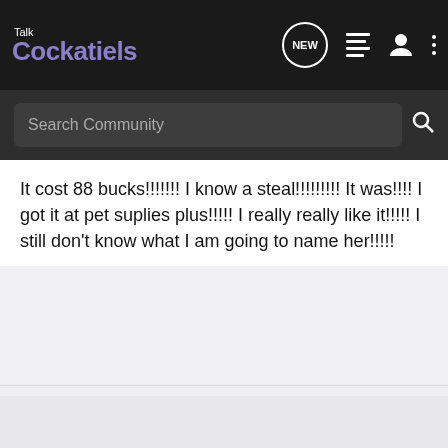Talk Cockatiels
Search Community
It cost 88 bucks!!!!!!! I know a steal!!!!!!!!! It was!!!! I got it at pet suplies plus!!!!! I really really like it!!!!! I still don't know what I am going to name her!!!!!
[Figure (screenshot): Embedded web widget bar from chickfactory.com with a colored progress/slider bar and a teal circle marker]